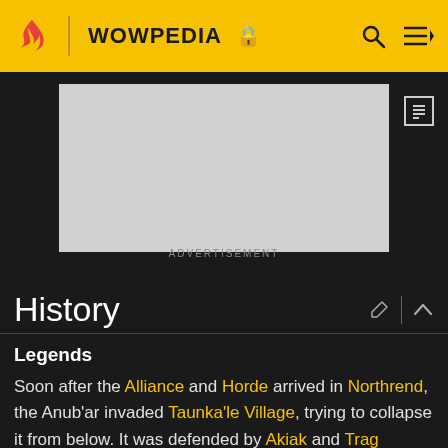WOWPEDIA
[Figure (other): Advertisement placeholder (grey rectangle)]
ADVERTISEMENT
History
Legends
Soon after the Alliance and Horde arrived in Northrend, the Anub'ar invaded Taunka'le Village, trying to collapse it from below. It was defended by Akiak and Trag Highmountain who fought against them in their tunnels.[1] Seeing this sacrifice, Akiak led a group of taunka into Icecrown. Near Icecrown Citadel, they were ambushed by